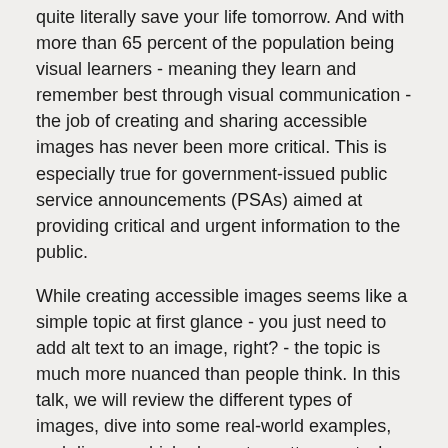quite literally save your life tomorrow. And with more than 65 percent of the population being visual learners - meaning they learn and remember best through visual communication - the job of creating and sharing accessible images has never been more critical. This is especially true for government-issued public service announcements (PSAs) aimed at providing critical and urgent information to the public.
While creating accessible images seems like a simple topic at first glance - you just need to add alt text to an image, right? - the topic is much more nuanced than people think. In this talk, we will review the different types of images, dive into some real-world examples, and discuss which elements matter most when our message needs to reach everyone.
In this live presentation, we will review:
- The different types of images - decorative vs informative